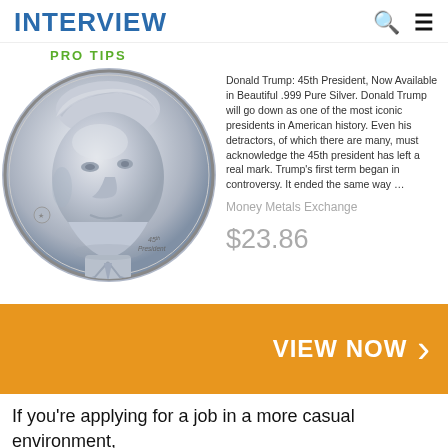INTERVIEW
PRO TIPS
[Figure (photo): Silver coin with portrait of Donald Trump as 45th President, shown in a circular silver medallion format]
Donald Trump: 45th President, Now Available in Beautiful .999 Pure Silver. Donald Trump will go down as one of the most iconic presidents in American history. Even his detractors, of which there are many, must acknowledge the 45th president has left a real mark. Trump's first term began in controversy. It ended the same way …
Money Metals Exchange
$23.86
VIEW NOW
If you're applying for a job in a more casual environment, such as a store or restaurant, it's still important to be neat